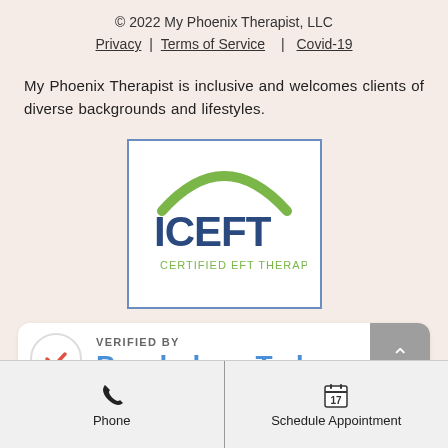© 2022 My Phoenix Therapist, LLC
Privacy | Terms of Service | Covid-19
My Phoenix Therapist is inclusive and welcomes clients of diverse backgrounds and lifestyles.
[Figure (logo): ICEFT logo — blue border box with green arch and ICEFT text in blue, subtitle in green below]
[Figure (logo): Verified by Psychology Today badge — red checkmark in circle on left, 'VERIFIED BY' in small caps above 'Psychology Today' in large blue bold text; scroll-up button on right]
Phone
Schedule Appointment